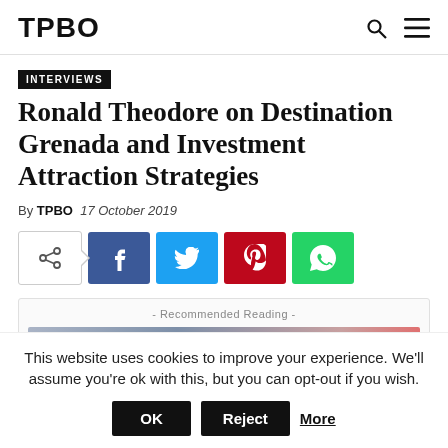TPBO
INTERVIEWS
Ronald Theodore on Destination Grenada and Investment Attraction Strategies
By TPBO   17 October 2019
[Figure (other): Social share buttons: share toggle, Facebook, Twitter, Pinterest, WhatsApp]
[Figure (other): Recommended Reading widget with label and partial image]
This website uses cookies to improve your experience. We'll assume you're ok with this, but you can opt-out if you wish.